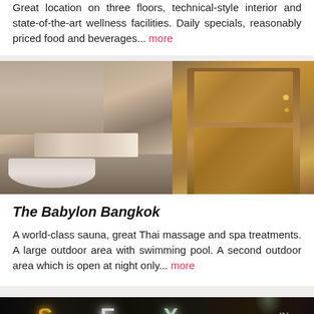Great location on three floors, technical-style interior and state-of-the-art wellness facilities. Daily specials, reasonably priced food and beverages... more
[Figure (photo): Interior photo split into two panels: left shows a marble bathroom vanity with mirror, toiletries and towels; right shows an ornate carved wooden door with decorative gold relief figures]
The Babylon Bangkok
A world-class sauna, great Thai massage and spa treatments. A large outdoor area with swimming pool. A second outdoor area which is open at night only... more
[Figure (photo): Partially visible photo at bottom showing illuminated sign letters with neon/LED dots on dark background, suggestive of an entertainment venue sign]